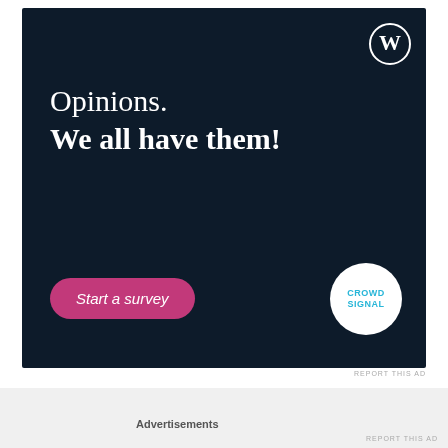[Figure (illustration): WordPress/Crowdsignal advertisement banner with dark navy background. Text reads 'Opinions. We all have them!' with a 'Start a survey' pink button, WordPress logo top right, Crowdsignal circular logo bottom right.]
REPORT THIS AD
Life is way too short to be trapped in the mundane. Take advantage of the time you have with the person who loves you because it only takes 30 seconds for
Advertisements
REPORT THIS AD